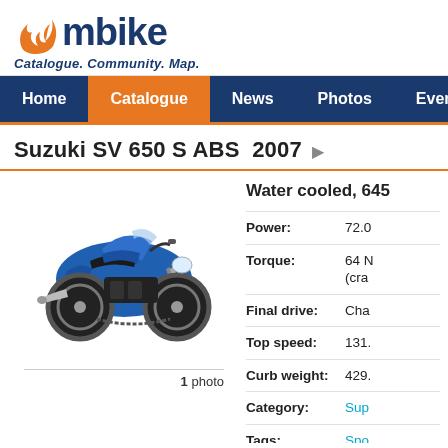[Figure (logo): mbike logo with orange flame and blue text, tagline: Catalogue. Community. Map.]
Home | Catalogue | News | Photos | Events | Co...
Suzuki SV 650 S ABS  2007
[Figure (photo): Blue Suzuki SV 650 S ABS 2007 motorcycle, side view, 1 photo]
Water cooled, 645...
| Spec | Value |
| --- | --- |
| Power: | 72.0... |
| Torque: | 64 N...(cra... |
| Final drive: | Cha... |
| Top speed: | 131.... |
| Curb weight: | 429.... |
| Category: | Sup... |
| Tags: | Spo... |